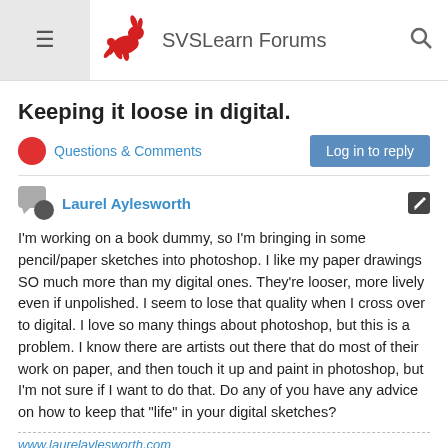SVSLearn Forums
Keeping it loose in digital.
Questions & Comments
Log in to reply
Laurel Aylesworth
I'm working on a book dummy, so I'm bringing in some pencil/paper sketches into photoshop. I like my paper drawings SO much more than my digital ones. They're looser, more lively even if unpolished. I seem to lose that quality when I cross over to digital. I love so many things about photoshop, but this is a problem. I know there are artists out there that do most of their work on paper, and then touch it up and paint in photoshop, but I'm not sure if I want to do that. Do any of you have any advice on how to keep that "life" in your digital sketches?
www.laurelaylesworth.com
instagram.com/laurelaylesworth